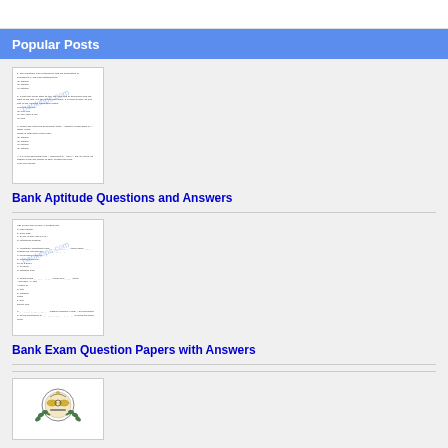Popular Posts
[Figure (screenshot): Thumbnail of Bank Aptitude Questions document page with watermark]
Bank Aptitude Questions and Answers
[Figure (screenshot): Thumbnail of Bank Exam Question Papers document page with watermark]
Bank Exam Question Papers with Answers
[Figure (illustration): Government emblem / logo image at bottom]